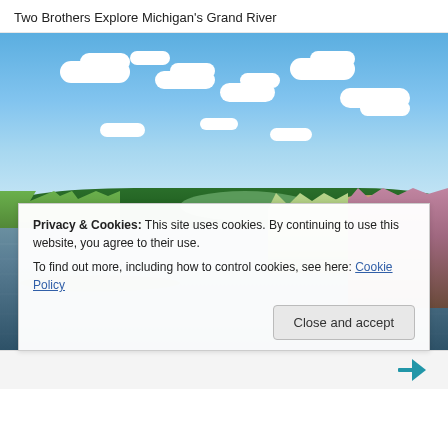Two Brothers Explore Michigan's Grand River
[Figure (photo): Photograph of Michigan's Grand River under a blue sky with white puffy clouds. Lush green reeds and lily pads line the left bank, wildflowers and grasses on the right. The calm river surface reflects the sky and clouds.]
Privacy & Cookies: This site uses cookies. By continuing to use this website, you agree to their use.
To find out more, including how to control cookies, see here: Cookie Policy
Close and accept